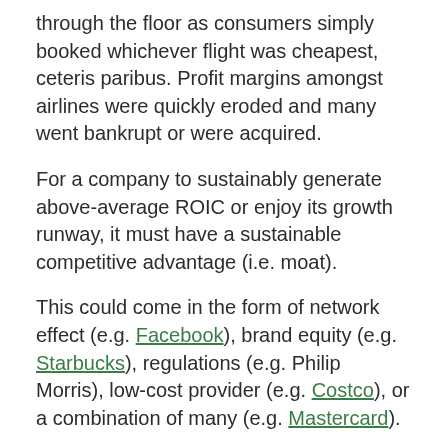through the floor as consumers simply booked whichever flight was cheapest, ceteris paribus. Profit margins amongst airlines were quickly eroded and many went bankrupt or were acquired.
For a company to sustainably generate above-average ROIC or enjoy its growth runway, it must have a sustainable competitive advantage (i.e. moat).
This could come in the form of network effect (e.g. Facebook), brand equity (e.g. Starbucks), regulations (e.g. Philip Morris), low-cost provider (e.g. Costco), or a combination of many (e.g. Mastercard).
Conclusion